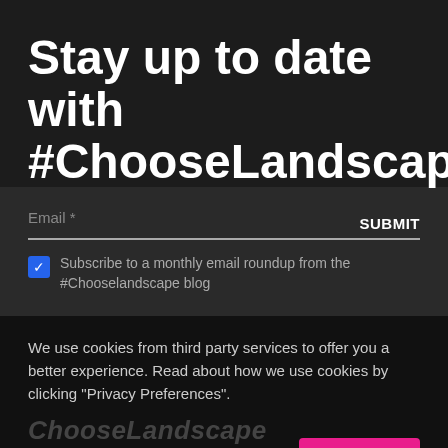Stay up to date with #ChooseLandscape
Email *
SUBMIT
Subscribe to a monthly email roundup from the #Chooselandscape blog
We use cookies from third party services to offer you a better experience. Read about how we use cookies by clicking "Privacy Preferences".
ChooseLandscape
Privacy Preferences
I Agree
Follow us